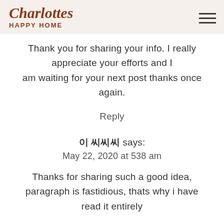Charlottes HAPPY HOME
Thank you for sharing your info. I really appreciate your efforts and I am waiting for your next post thanks once again.
Reply
이 씨씨씨 says:
May 22, 2020 at 538 am
Thanks for sharing such a good idea, paragraph is fastidious, thats why i have read it entirely